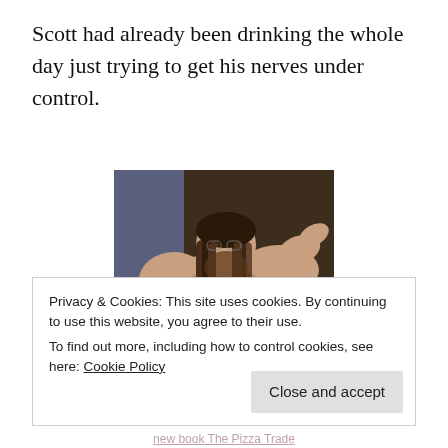Scott had already been drinking the whole day just trying to get his nerves under control.
[Figure (photo): Book cover for 'The Pizza Trade' featuring a large shirtless man with long hair sitting against a wall, with bold pink/magenta text reading 'THE PIZZA TRADE' overlaid on the image.]
Privacy & Cookies: This site uses cookies. By continuing to use this website, you agree to their use.
To find out more, including how to control cookies, see here: Cookie Policy
new book  The Pizza Trade